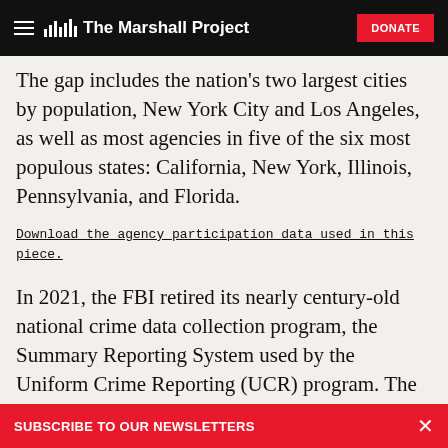The Marshall Project
The gap includes the nation's two largest cities by population, New York City and Los Angeles, as well as most agencies in five of the six most populous states: California, New York, Illinois, Pennsylvania, and Florida.
Download the agency participation data used in this piece.
In 2021, the FBI retired its nearly century-old national crime data collection program, the Summary Reporting System used by the Uniform Crime Reporting (UCR) program. The agency
SUBSCRIBE TO OUR NEWSLETTERS